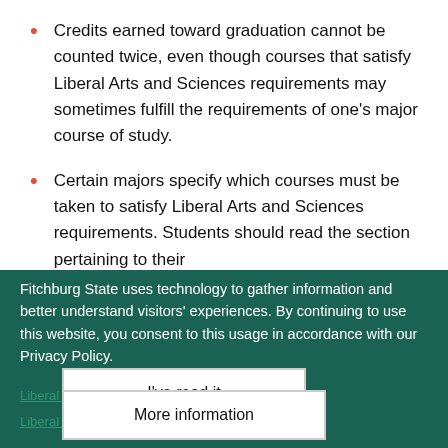Credits earned toward graduation cannot be counted twice, even though courses that satisfy Liberal Arts and Sciences requirements may sometimes fulfill the requirements of one's major course of study.
Certain majors specify which courses must be taken to satisfy Liberal Arts and Sciences requirements. Students should read the section pertaining to their...
Fitchburg State uses technology to gather information and better understand visitors' experiences. By continuing to use this website, you consent to this usage in accordance with our Privacy Policy.
Helpful Links
Liberal Arts and Sciences Council
Liberal Arts and Sciences Courses (Excel)
I've read it
More information